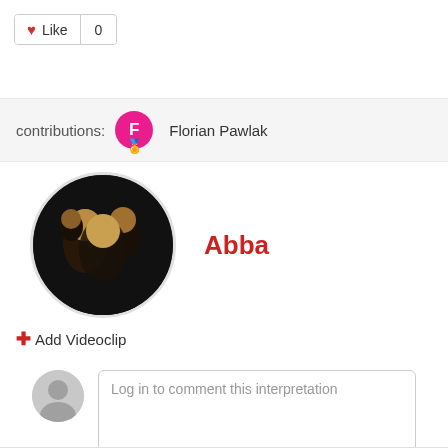[Figure (screenshot): Like button with heart icon showing count of 0]
contributions: Florian Pawlak
[Figure (photo): Circular photo of ABBA band members on dark background, next to red bold text 'Abba']
+ Add Videoclip
Log in to comment this interpretation